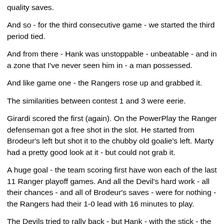quality saves.
And so - for the third consecutive game - we started the third period tied.
And from there - Hank was unstoppable - unbeatable - and in a zone that I've never seen him in - a man possessed.
And like game one - the Rangers rose up and grabbed it.
The similarities between contest 1 and 3 were eerie.
Girardi scored the first (again). On the PowerPlay the Ranger defenseman got a free shot in the slot. He started from Brodeur's left but shot it to the chubby old goalie's left. Marty had a pretty good look at it - but could not grab it.
A huge goal - the team scoring first have won each of the last 11 Ranger playoff games. And all the Devil's hard work - all their chances - and all of Brodeur's saves - were for nothing - the Rangers had their 1-0 lead with 16 minutes to play.
The Devils tried to rally back - but Hank - with the stick - the